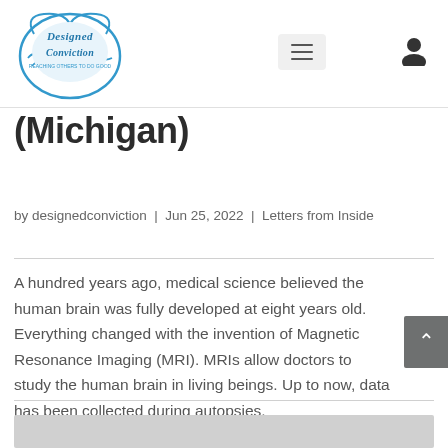[Figure (logo): Designed Conviction logo — blue ornate circular badge with script lettering]
(Michigan)
by designedconviction | Jun 25, 2022 | Letters from Inside
A hundred years ago, medical science believed the human brain was fully developed at eight years old. Everything changed with the invention of Magnetic Resonance Imaging (MRI). MRIs allow doctors to study the human brain in living beings. Up to now, data has been collected during autopsies.